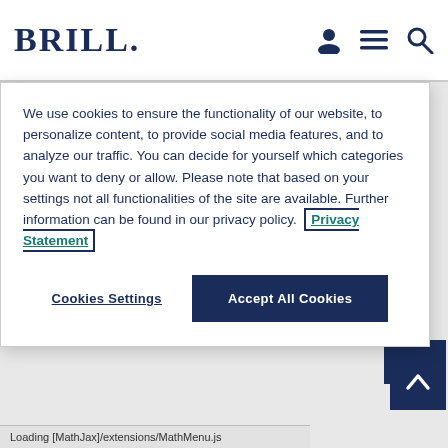BRILL
We use cookies to ensure the functionality of our website, to personalize content, to provide social media features, and to analyze our traffic. You can decide for yourself which categories you want to deny or allow. Please note that based on your settings not all functionalities of the site are available. Further information can be found in our privacy policy. Privacy Statement
Cookies Settings
Accept All Cookies
greater diversity characterize the wisdom material. Wild animals in the Torah and Prophets typically signify potential danger outside the inhabited domain or divine wrath and punishment. In wisdom literature, however, they become sources for (Job 5:22). In
Loading [MathJax]/extensions/MathMenu.js